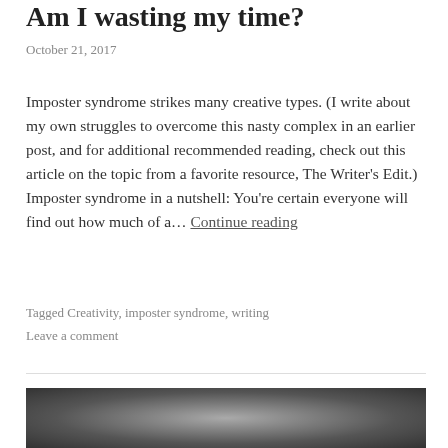Am I wasting my time?
October 21, 2017
Imposter syndrome strikes many creative types. (I write about my own struggles to overcome this nasty complex in an earlier post, and for additional recommended reading, check out this article on the topic from a favorite resource, The Writer's Edit.) Imposter syndrome in a nutshell: You're certain everyone will find out how much of a… Continue reading
Tagged Creativity, imposter syndrome, writing
Leave a comment
[Figure (photo): Dark monochrome photo partially visible at bottom of page]